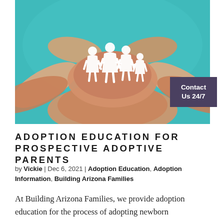[Figure (photo): Multiple pairs of hands cupped together holding white paper cutout figures of a family (two adults and two children) against a teal background — symbolizing adoption and family building.]
Contact Us 24/7
ADOPTION EDUCATION FOR PROSPECTIVE ADOPTIVE PARENTS
by Vickie | Dec 6, 2021 | Adoption Education, Adoption Information, Building Arizona Families
At Building Arizona Families, we provide adoption education for the process of adopting newborn